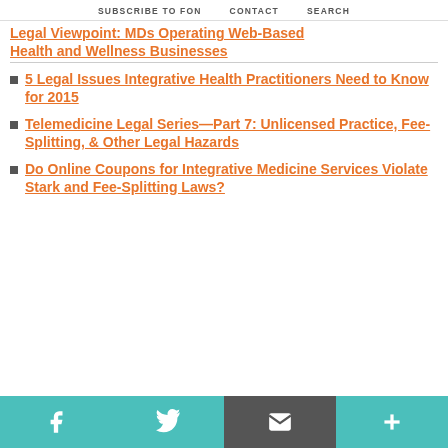SUBSCRIBE TO FON   CONTACT   SEARCH
Legal Viewpoint: MDs Operating Web-Based Health and Wellness Businesses
5 Legal Issues Integrative Health Practitioners Need to Know for 2015
Telemedicine Legal Series—Part 7: Unlicensed Practice, Fee-Splitting, & Other Legal Hazards
Do Online Coupons for Integrative Medicine Services Violate Stark and Fee-Splitting Laws?
f  twitter  email  +